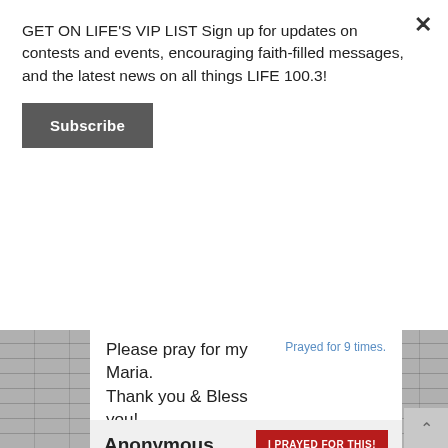GET ON LIFE'S VIP LIST Sign up for updates on contests and events, encouraging faith-filled messages, and the latest news on all things LIFE 100.3!
Subscribe
Please pray for my Maria.
Thank you & Bless you!
Prayed for 9 times.
Posted on August 30th, 2021
Anonymous
I PRAYED FOR THIS!
Prayed for 8 times.
Prayers for my baby grandson won't continue to have to endure invasive covid test or